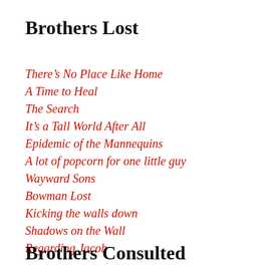Brothers Lost
There’s No Place Like Home
A Time to Heal
The Search
It’s a Tall World After All
Epidemic of the Mannequins
A lot of popcorn for one little guy
Wayward Sons
Bowman Lost
Kicking the walls down
Shadows on the Wall
Regarding Jacob
Brothers Consulted